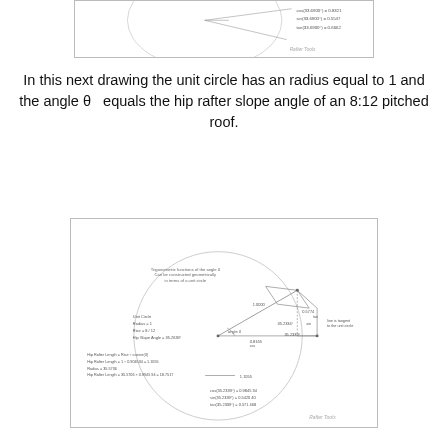[Figure (engineering-diagram): Unit circle diagram showing trigonometric functions with a previous example (33.69 degree angle), showing cos, sin, tan values and Rafter Tools watermark]
In this next drawing the unit circle has an radius equal to 1 and the angle θ  equals the hip rafter slope angle of an 8:12 pitched roof.
[Figure (engineering-diagram): Unit circle diagram showing trigonometric functions of angle θ for hip rafter slope angle of 8:12 pitched roof. Shows Unit Circle with Radius=1, Rise=8/12, Hip Slope Angle=35.2639°, Hip Rafter Length calculations, and trig values cos(35.2639°)=0.8165, sin(35.2639°)=0.5774, tan(35.2639°)=0.6667. Rafter Tools watermark.]